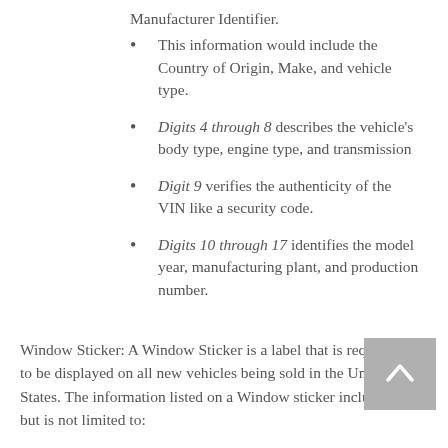Manufacturer Identifier.
This information would include the Country of Origin, Make, and vehicle type.
Digits 4 through 8 describes the vehicle's body type, engine type, and transmission
Digit 9 verifies the authenticity of the VIN like a security code.
Digits 10 through 17 identifies the model year, manufacturing plant, and production number.
Window Sticker: A Window Sticker is a label that is required to be displayed on all new vehicles being sold in the United States. The information listed on a Window sticker includes, but is not limited to: